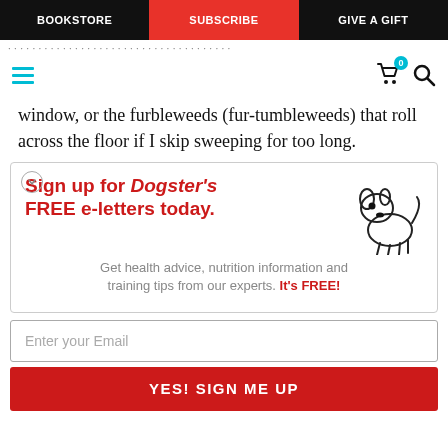BOOKSTORE | SUBSCRIBE | GIVE A GIFT
window, or the furbleweeds (fur-tumbleweeds) that roll across the floor if I skip sweeping for too long.
[Figure (infographic): Sign up for Dogster's FREE e-letters today promotion box with cartoon dog illustration, email input field, and YES! SIGN ME UP button]